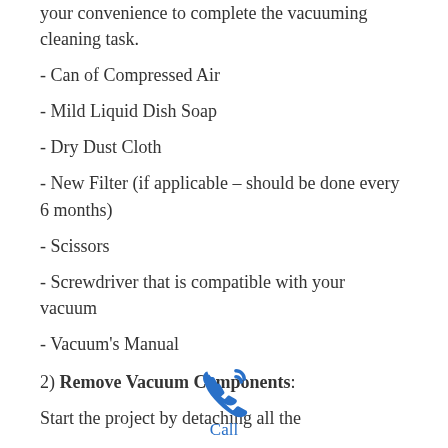your convenience to complete the vacuuming cleaning task.
- Can of Compressed Air
- Mild Liquid Dish Soap
- Dry Dust Cloth
- New Filter (if applicable – should be done every 6 months)
- Scissors
- Screwdriver that is compatible with your vacuum
- Vacuum's Manual
2) Remove Vacuum Components:
Start the project by detaching all the
[Figure (other): Blue phone/call icon with 'Call' label below in blue text]